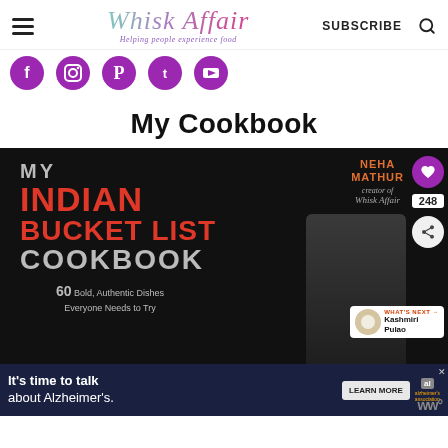Whisk Affair — Helping people experience food — SUBSCRIBE
[Figure (other): Social media icons: Facebook, Instagram, Pinterest, Twitter, YouTube — all in purple circular buttons]
My Cookbook
[Figure (photo): Book cover of 'My Indian Bucket List Cookbook' by Neha Mathur, creator of Whisk Affair. 60 Bold, Authentic Dishes Everyone Needs to Try. Black background with red and grey text. Author photo on right side. Heart button (248 shares), share button, and Whats Next Kashmiri Pulao panel visible.]
[Figure (other): Advertisement banner: It's time to talk about Alzheimer's. LEARN MORE button. Alzheimer's Association logo.]